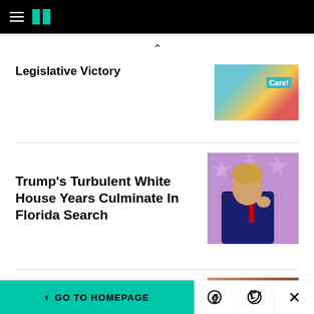HuffPost navigation bar with hamburger menu and logo
Legislative Victory
Trump's Turbulent White House Years Culminate In Florida Search
[Figure (photo): Colorful image with 'Care!' text overlay]
[Figure (photo): Photo of Donald Trump in blue suit and red tie against purple star background]
[Figure (photo): Partially visible image at bottom of page]
< GO TO HOMEPAGE  [Facebook] [Twitter] [X]